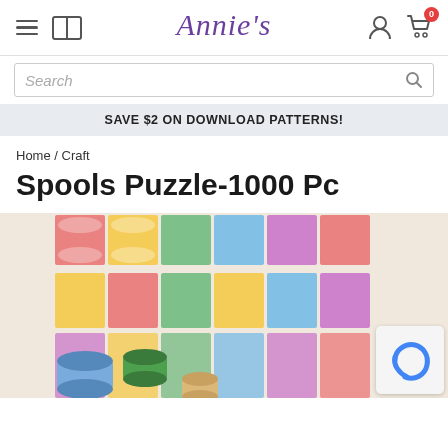Annie's website header with navigation icons, Annie's logo, user and cart icons
Search
SAVE $2 ON DOWNLOAD PATTERNS!
Home / Craft
Spools Puzzle-1000 Pc
[Figure (photo): Product photo showing a colorful quilt with spool/diamond pattern in many colors and fabrics, with thread spools placed in front of the quilt.]